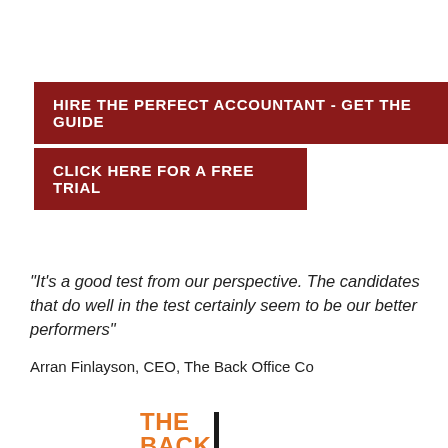HIRE THE PERFECT ACCOUNTANT - GET THE GUIDE
CLICK HERE FOR A FREE TRIAL
"It's a good test from our perspective. The candidates that do well in the test certainly seem to be our better performers"
Arran Finlayson, CEO, The Back Office Co
[Figure (logo): The Back Office Co logo with orange text and black vertical bar]